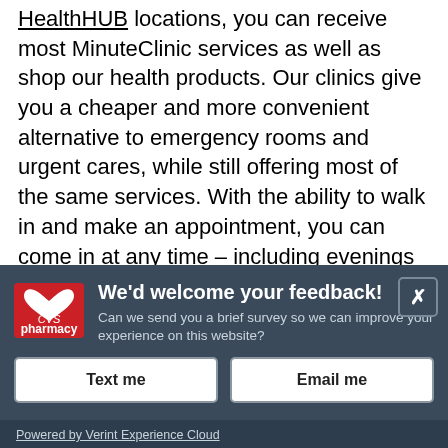HealthHUB locations, you can receive most MinuteClinic services as well as shop our health products. Our clinics give you a cheaper and more convenient alternative to emergency rooms and urgent cares, while still offering most of the same services. With the ability to walk in and make an appointment, you can come in at any time – including evenings and weekends. MinuteClinic® provides quality health care for adults and children over 18 months. We treat a wide range of conditions and illnesses to ensure that you and your family get well and stay well. Some of our services include TB testing, flu shots, and sports physicals. Come in for a MinuteClinic visit and receive quality health care on your schedule!
[Figure (screenshot): CVS Pharmacy feedback survey modal overlay on a dark blue-grey background. Contains CVS Pharmacy logo, title 'We'd welcome your feedback!', body text asking to send a brief survey, two buttons labeled 'Text me' and 'Email me', a close button (X), and a footer link 'Powered by Verint Experience Cloud'.]